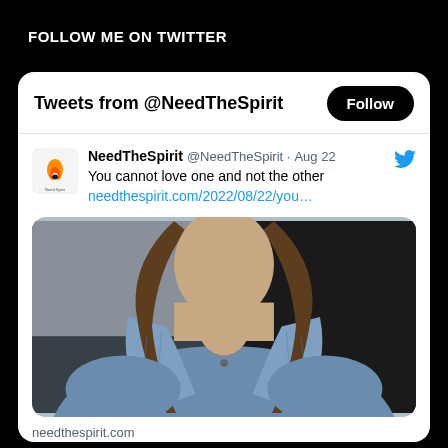FOLLOW ME ON TWITTER
Tweets from @NeedTheSpirit
NeedTheSpirit @NeedTheSpirit · Aug 22
You cannot love one and not the other
needthespirit.com/2022/08/22/you…
[Figure (photo): Close-up photo of a woman wearing a denim jacket, brown hair visible, with a necklace]
needthespirit.com